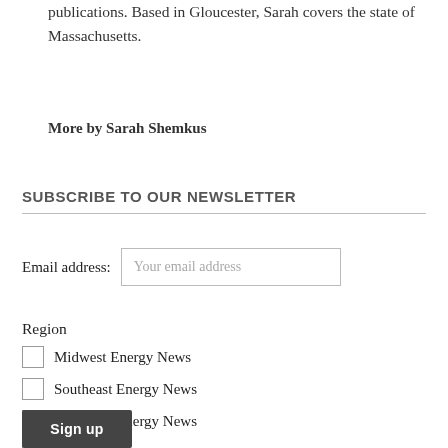publications. Based in Gloucester, Sarah covers the state of Massachusetts.
More by Sarah Shemkus
SUBSCRIBE TO OUR NEWSLETTER
Email address: Your email address
Region
Midwest Energy News
Southeast Energy News
Northeast Energy News
Western Energy News
U.S. Energy News
Sign up